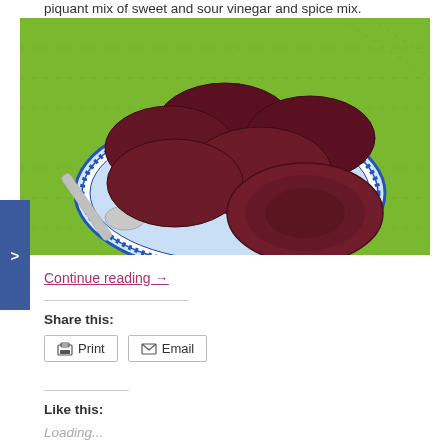piquant mix of sweet and sour vinegar and spice mix.
[Figure (photo): Sliced dark red pickled beets arranged on a blue and white decorative plate with a silver spoon, set on a green cloth background.]
Continue reading →
Share this:
Print
Email
Like this:
Loading...